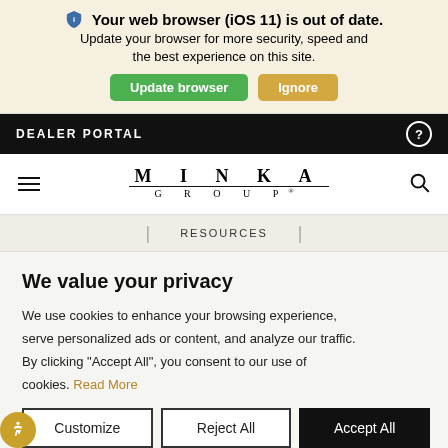Your web browser (iOS 11) is out of date. Update your browser for more security, speed and the best experience on this site. Update browser | Ignore
DEALER PORTAL
[Figure (logo): MINKA GROUP logo with wide letter-spacing]
RESOURCES
We value your privacy
We use cookies to enhance your browsing experience, serve personalized ads or content, and analyze our traffic. By clicking "Accept All", you consent to our use of cookies. Read More
Customize | Reject All | Accept All